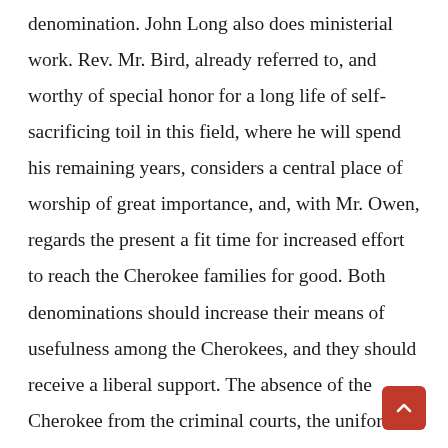denomination. John Long also does ministerial work. Rev. Mr. Bird, already referred to, and worthy of special honor for a long life of self-sacrificing toil in this field, where he will spend his remaining years, considers a central place of worship of great importance, and, with Mr. Owen, regards the present a fit time for increased effort to reach the Cherokee families for good. Both denominations should increase their means of usefulness among the Cherokees, and they should receive a liberal support. The absence of the Cherokee from the criminal courts, the uniform observance of the marriage rite, the character and development of the schools, and the industry of the people are signs of real progress. Evidence on file at the Interior department shows that illegitimate births are less frequent than among the white people. The recent